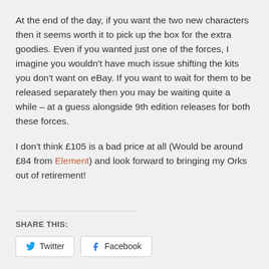At the end of the day, if you want the two new characters then it seems worth it to pick up the box for the extra goodies. Even if you wanted just one of the forces, I imagine you wouldn't have much issue shifting the kits you don't want on eBay. If you want to wait for them to be released separately then you may be waiting quite a while – at a guess alongside 9th edition releases for both these forces.
I don't think £105 is a bad price at all (Would be around £84 from Element) and look forward to bringing my Orks out of retirement!
SHARE THIS: